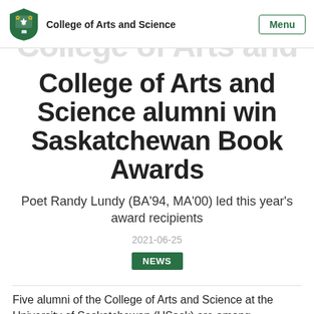College of Arts and Science
College of Arts and Science alumni win Saskatchewan Book Awards
Poet Randy Lundy (BA’94, MA’00) led this year’s award recipients
2021-06-25
NEWS
Five alumni of the College of Arts and Science at the University of Saskatchewan (USask) are among